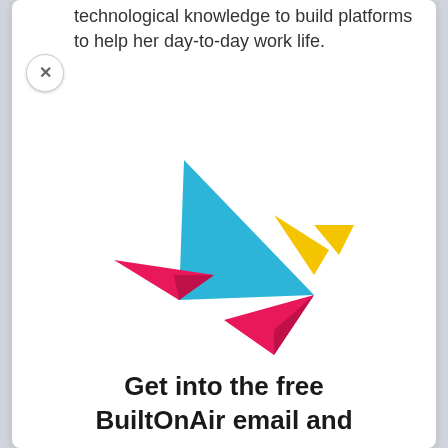technological knowledge to build platforms to help her day-to-day work life.
[Figure (logo): BuiltOnAir origami bird logo made of geometric triangles in cyan/blue, magenta/pink, and yellow colors]
Get into the free BuiltOnAir email and